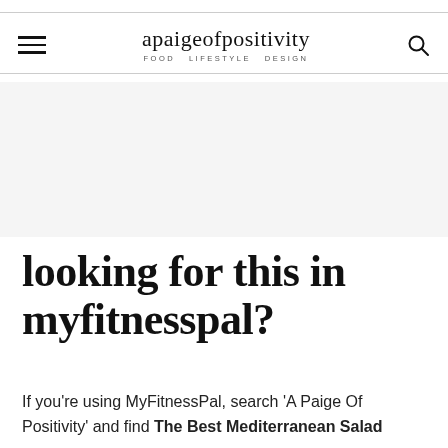apaigeofpositivity — FOOD LIFESTYLE DESIGN
looking for this in myfitnesspal?
If you're using MyFitnessPal, search 'A Paige Of Positivity' and find The Best Mediterranean Salad